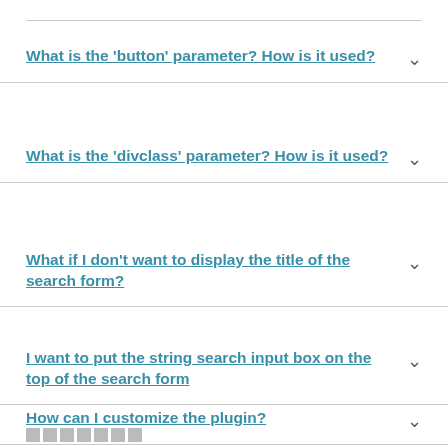What is the 'button' parameter? How is it used?
What is the 'divclass' parameter? How is it used?
What if I don't want to display the title of the search form?
I want to put the string search input box on the top of the search form
How can I customize the plugin?